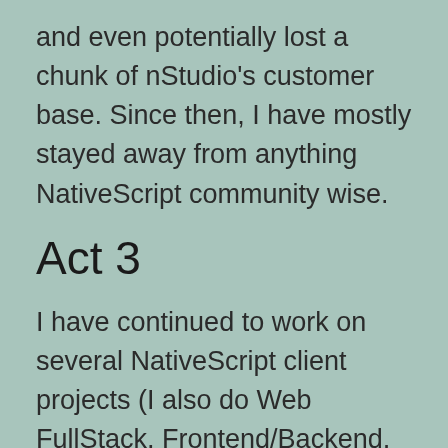and even potentially lost a chunk of nStudio's customer base. Since then, I have mostly stayed away from anything NativeScript community wise.
Act 3
I have continued to work on several NativeScript client projects (I also do Web FullStack, Frontend/Backend, Node, JS, PHP, C/C++, Rust, C#, DevOps, Security and manage several companies web servers and many other technologies). If a client asks to start a new app, in the past I would have